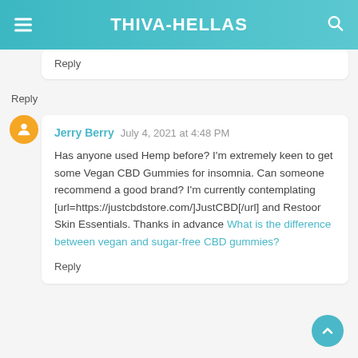THIVA-HELLAS
Reply
Reply
Jerry Berry  July 4, 2021 at 4:48 PM

Has anyone used Hemp before? I'm extremely keen to get some Vegan CBD Gummies for insomnia. Can someone recommend a good brand? I'm currently contemplating [url=https://justcbdstore.com/]JustCBD[/url] and Restoor Skin Essentials. Thanks in advance What is the difference between vegan and sugar-free CBD gummies?
Reply